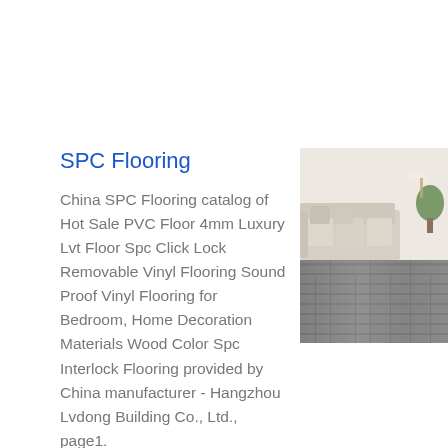SPC Flooring
China SPC Flooring catalog of Hot Sale PVC Floor 4mm Luxury Lvt Floor Spc Click Lock Removable Vinyl Flooring Sound Proof Vinyl Flooring for Bedroom, Home Decoration Materials Wood Color Spc Interlock Flooring provided by China manufacturer - Hangzhou Lvdong Building Co., Ltd., page1.
[Figure (photo): Photo of a living room with light beige sofa and gray SPC/vinyl plank flooring]
Get price